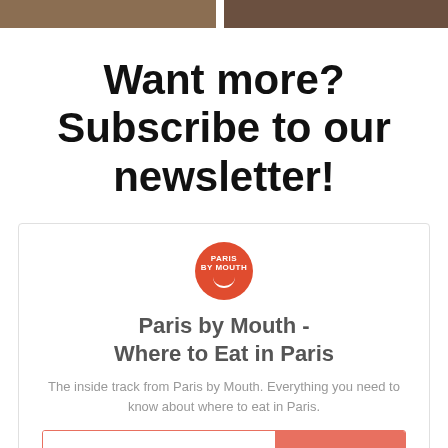[Figure (photo): Two cropped food/restaurant photos side by side at top of page]
Want more? Subscribe to our newsletter!
[Figure (logo): Paris by Mouth circular red logo with smile icon]
Paris by Mouth - Where to Eat in Paris
The inside track from Paris by Mouth. Everything you need to know about where to eat in Paris.